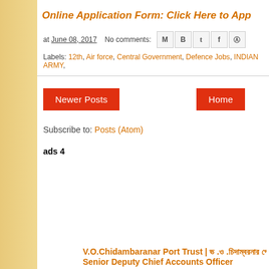Online Application Form: Click Here to App
at June 08, 2017   No comments:
Labels: 12th, Air force, Central Government, Defence Jobs, INDIAN ARMY,
Newer Posts   Home
Subscribe to: Posts (Atom)
ads 4
V.O.Chidambaranar Port Trust | ভ .ও .চিদাম্বরনার পোর্ট ট্রাস্ট Senior Deputy Chief Accounts Officer